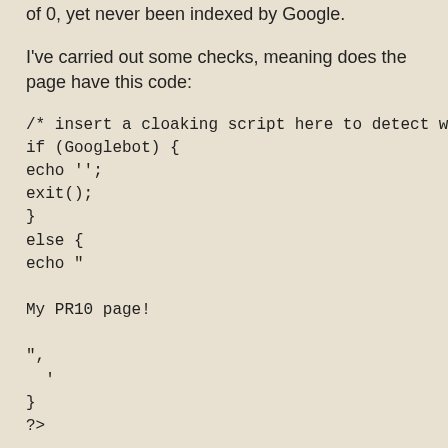of 0, yet never been indexed by Google.
I've carried out some checks, meaning does the page have this code:
/* insert a cloaking script here to detect whether the visitor is Googlebot */
if (Googlebot) {
echo '';
exit();
}
else {
echo "

My PR10 page!

",
  '
}
?>
No, it doesn't. So how can a site generate such a wonderful PageRank yet never have had the pleasure of Google's